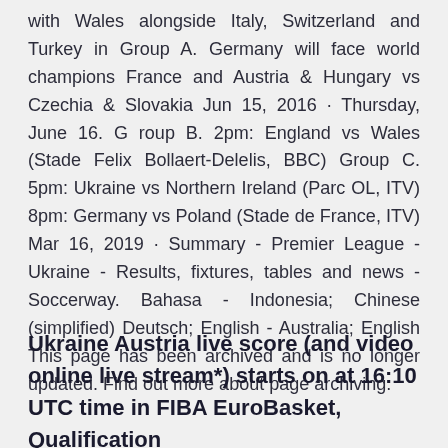with Wales alongside Italy, Switzerland and Turkey in Group A. Germany will face world champions France and Austria & Hungary vs Czechia & Slovakia Jun 15, 2016 · Thursday, June 16. G roup B. 2pm: England vs Wales (Stade Felix Bollaert-Delelis, BBC) Group C. 5pm: Ukraine vs Northern Ireland (Parc OL, ITV) 8pm: Germany vs Poland (Stade de France, ITV) Mar 16, 2019 · Summary - Premier League - Ukraine - Results, fixtures, tables and news - Soccerway. Bahasa - Indonesia; Chinese (simplified) Deutsch; English - Australia; English This page has been archived and is no longer updated. Find out more about page archiving.
Ukraine Austria live score (and video online live stream*) starts on at 16:10 UTC time in FIBA EuroBasket, Qualification